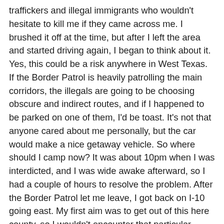traffickers and illegal immigrants who wouldn't hesitate to kill me if they came across me. I brushed it off at the time, but after I left the area and started driving again, I began to think about it. Yes, this could be a risk anywhere in West Texas. If the Border Patrol is heavily patrolling the main corridors, the illegals are going to be choosing obscure and indirect routes, and if I happened to be parked on one of them, I'd be toast. It's not that anyone cared about me personally, but the car would make a nice getaway vehicle. So where should I camp now? It was about 10pm when I was interdicted, and I was wide awake afterward, so I had a couple of hours to resolve the problem. After the Border Patrol let me leave, I got back on I-10 going east. My first aim was to get out of this here county, so I wouldn't encounter that particular sheriff or his deputies again. After that, I was faced with a dilemma. In Nevada or Arizona, I would simply take the next freeway exit in the open desert and look for a place to camp just beyond the lights of the freeway. I felt protected by the hugeness of the desert. In Texas, however, there were all those fences and gates, and even when I found I place I would normally camp, the specter of the desperate Mexican narcotraficante entered my mind. There were plenty of desolate freeway